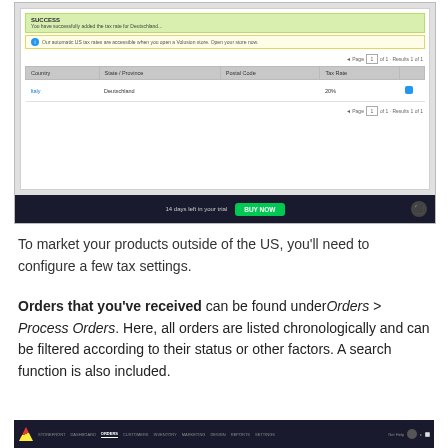[Figure (screenshot): Screenshot of an e-commerce admin panel showing a SUCCESS notification for adding a tax rate for Deutschland, an info bar about automatic US tax rates, a table with columns Country, State/Province, Postal Code, Tax Rate showing 'Italy | Deutschland | | 20%', pagination controls, and a dark trial bar at bottom saying '14 days left in your trial' with a BUY NOW button.]
To market your products outside of the US, you'll need to configure a few tax settings.
Orders that you've received can be found under Orders > Process Orders. Here, all orders are listed chronologically and can be filtered according to their status or other factors. A search function is also included.
[Figure (screenshot): Bottom navigation bar of an e-commerce admin with logo and menu items: STOREFRONT, DASHBOARD, ORDERS (active/highlighted), CUSTOMERS, INVENTORY, MARKETING, DESIGN, REPORTS, SETTINGS, Get Help.]